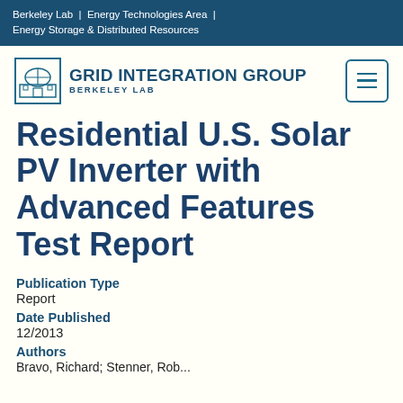Berkeley Lab | Energy Technologies Area | Energy Storage & Distributed Resources
[Figure (logo): Grid Integration Group Berkeley Lab logo with building icon and hamburger menu button]
Residential U.S. Solar PV Inverter with Advanced Features Test Report
Publication Type
Report
Date Published
12/2013
Authors
Bravo, Richard; Stenner, Rob...